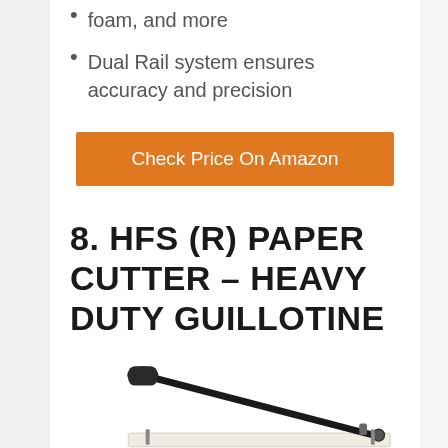foam, and more
Dual Rail system ensures accuracy and precision
Check Price On Amazon
8. HFS (R) PAPER CUTTER – HEAVY DUTY GUILLOTINE
[Figure (photo): Photo of HFS (R) Paper Cutter heavy duty guillotine product, showing the cutting arm and base]